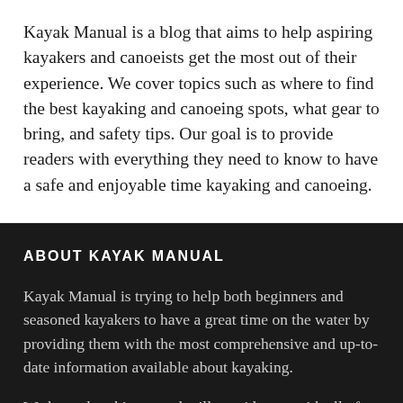Kayak Manual is a blog that aims to help aspiring kayakers and canoeists get the most out of their experience. We cover topics such as where to find the best kayaking and canoeing spots, what gear to bring, and safety tips. Our goal is to provide readers with everything they need to know to have a safe and enjoyable time kayaking and canoeing.
ABOUT KAYAK MANUAL
Kayak Manual is trying to help both beginners and seasoned kayakers to have a great time on the water by providing them with the most comprehensive and up-to-date information available about kayaking.
We hope that this manual will provide you with all of